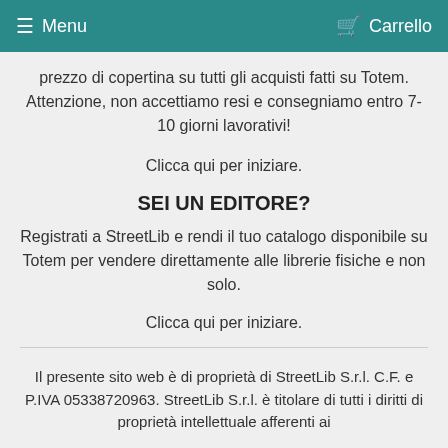Menu   Carrello
prezzo di copertina su tutti gli acquisti fatti su Totem. Attenzione, non accettiamo resi e consegniamo entro 7-10 giorni lavorativi!
Clicca qui per iniziare.
SEI UN EDITORE?
Registrati a StreetLib e rendi il tuo catalogo disponibile su Totem per vendere direttamente alle librerie fisiche e non solo.
Clicca qui per iniziare.
Il presente sito web è di proprietà di StreetLib S.r.l. C.F. e P.IVA 05338720963. StreetLib S.r.l. è titolare di tutti i diritti di proprietà intellettuale afferenti ai